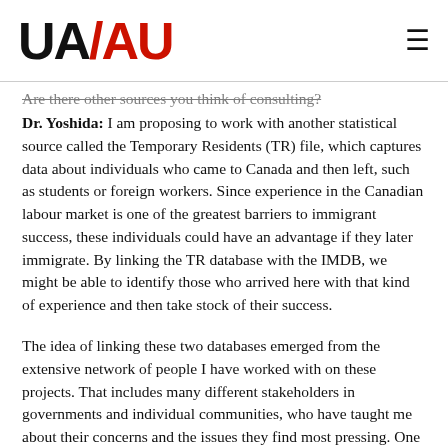UA/AU
Are there other sources you think of consulting?
Dr. Yoshida: I am proposing to work with another statistical source called the Temporary Residents (TR) file, which captures data about individuals who came to Canada and then left, such as students or foreign workers. Since experience in the Canadian labour market is one of the greatest barriers to immigrant success, these individuals could have an advantage if they later immigrate. By linking the TR database with the IMDB, we might be able to identify those who arrived here with that kind of experience and then take stock of their success.
The idea of linking these two databases emerged from the extensive network of people I have worked with on these projects. That includes many different stakeholders in governments and individual communities, who have taught me about their concerns and the issues they find most pressing. One of the most important of those issues in Atlantic Canada is declining population; even though the region attracts many immigrants, retaining them is a challenge. If we can show that